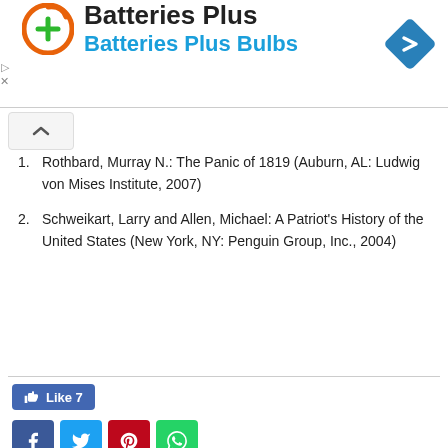[Figure (logo): Batteries Plus advertisement banner with orange circular logo with green plus sign, brand name 'Batteries Plus' in black and 'Batteries Plus Bulbs' in blue, and a blue diamond navigation icon on the right]
1. Rothbard, Murray N.: The Panic of 1819 (Auburn, AL: Ludwig von Mises Institute, 2007)
2. Schweikart, Larry and Allen, Michael: A Patriot's History of the United States (New York, NY: Penguin Group, Inc., 2004)
[Figure (infographic): Social sharing area with Facebook Like button showing count of 7, and four social media icon buttons: Facebook (blue), Twitter (light blue), Pinterest (red), WhatsApp (green)]